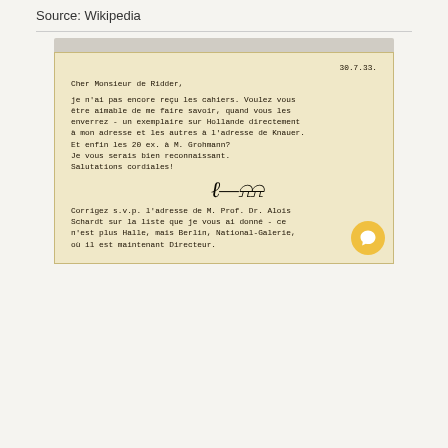Source: Wikipedia
[Figure (photo): Scanned typewritten letter on aged yellow paper dated 30.7.33. Written in French, addressed to 'Cher Monsieur de Ridder'. The letter discusses receiving cahiers (notebooks), requesting copies sent to Hollande address, to Knauer's address, and 20 copies to M. Grohmann. Signed with a handwritten signature. Postscript asks to correct the address of Prof. Dr. Alois Schardt on the list, noting he is now at Berlin, National-Galerie, as Directeur.]